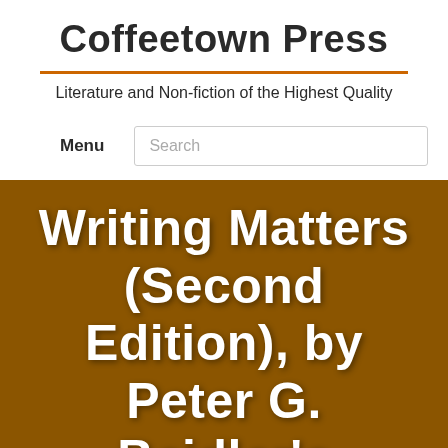Coffeetown Press
Literature and Non-fiction of the Highest Quality
Menu
Search
[Figure (other): Brown banner with bold white text reading: Writing Matters (Second Edition), by Peter G. Beidler's]
Writing Matters (Second Edition), by Peter G. Beidler's